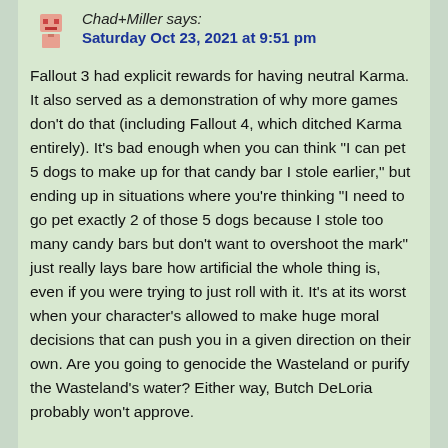Chad+Miller says: Saturday Oct 23, 2021 at 9:51 pm
Fallout 3 had explicit rewards for having neutral Karma. It also served as a demonstration of why more games don't do that (including Fallout 4, which ditched Karma entirely). It's bad enough when you can think "I can pet 5 dogs to make up for that candy bar I stole earlier," but ending up in situations where you're thinking "I need to go pet exactly 2 of those 5 dogs because I stole too many candy bars but don't want to overshoot the mark" just really lays bare how artificial the whole thing is, even if you were trying to just roll with it. It's at its worst when your character's allowed to make huge moral decisions that can push you in a given direction on their own. Are you going to genocide the Wasteland or purify the Wasteland's water? Either way, Butch DeLoria probably won't approve.